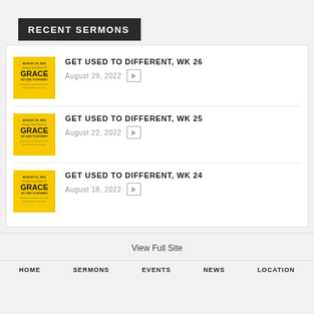RECENT SERMONS
GET USED TO DIFFERENT, WK 26 | August 29, 2022
GET USED TO DIFFERENT, WK 25 | August 22, 2022
GET USED TO DIFFERENT, WK 24 | August 18, 2022
View Full Site
HOME  SERMONS  EVENTS  NEWS  LOCATION